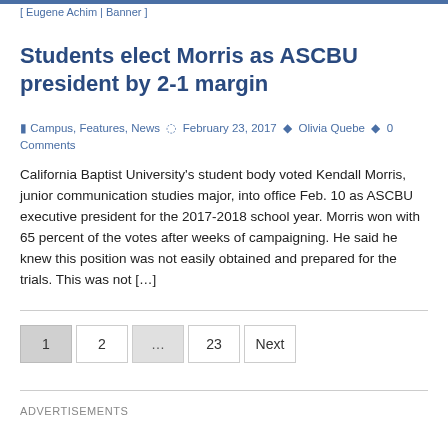[ Eugene Achim | Banner ]
Students elect Morris as ASCBU president by 2-1 margin
Campus, Features, News  February 23, 2017  Olivia Quebe  0 Comments
California Baptist University’s student body voted Kendall Morris, junior communication studies major, into office Feb. 10 as ASCBU executive president for the 2017-2018 school year. Morris won with 65 percent of the votes after weeks of campaigning. He said he knew this position was not easily obtained and prepared for the trials. This was not […]
1  2  …  23  Next
ADVERTISEMENTS